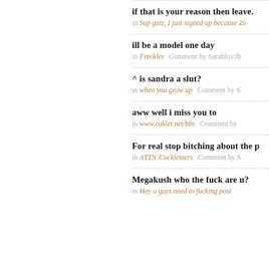if that is your reason then leave.
in Sup gaiz, I just signed up because Zo
ill be a model one day
in Freckles   Comment by Sarahlov3b
^ is sandra a slut?
in when you grow up   Comment by S
aww well i miss you to
in www.coklet.net/bbs   Comment by
For real stop bitching about the p
in ATTN:Cockleteers   Comment by S
Megakush who the fuck are u?
in Hey u guys need to fucking post